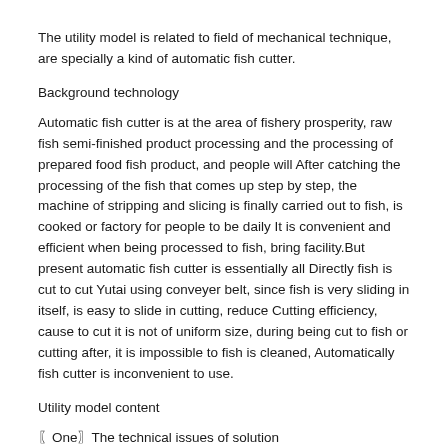The utility model is related to field of mechanical technique, are specially a kind of automatic fish cutter.
Background technology
Automatic fish cutter is at the area of fishery prosperity, raw fish semi-finished product processing and the processing of prepared food fish product, and people will After catching the processing of the fish that comes up step by step, the machine of stripping and slicing is finally carried out to fish, is cooked or factory for people to be daily It is convenient and efficient when being processed to fish, bring facility.But present automatic fish cutter is essentially all Directly fish is cut to cut Yutai using conveyer belt, since fish is very sliding in itself, is easy to slide in cutting, reduce Cutting efficiency, cause to cut it is not of uniform size, during being cut to fish or cutting after, it is impossible to fish is cleaned, Automatically fish cutter is inconvenient to use.
Utility model content
〖One〗The technical issues of solution